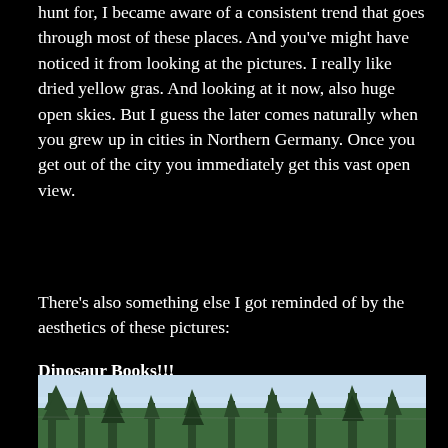hunt for, I became aware of a consistent trend that goes through most of these places. And you've might have noticed it from looking at the pictures. I really like dried yellow gras. And looking at it now, also huge open skies. But I guess the later comes naturally when you grew up in cities in Northern Germany. Once you get out of the city you immediately get this vast open view.
There's also something else I got reminded of by the aesthetics of these pictures:
Dinosaur Books!!!
[Figure (photo): Bottom portion of a photograph showing trees and a light blue sky, partially cut off at the bottom of the page.]